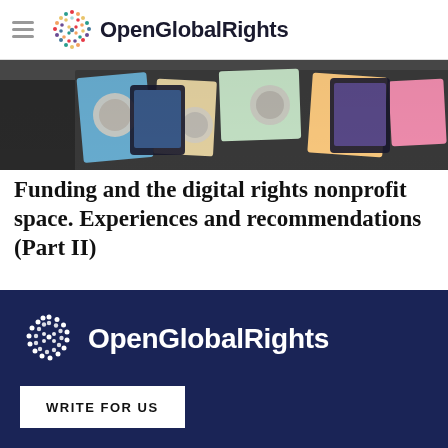OpenGlobalRights
[Figure (photo): A table with papers, tablets, and printed materials spread out, viewed from above.]
Funding and the digital rights nonprofit space. Experiences and recommendations (Part II)
BY: JUAN ORTIZ FREULER & WILL ORR & ANA BRANDUSESCU
Español
OpenGlobalRights — WRITE FOR US